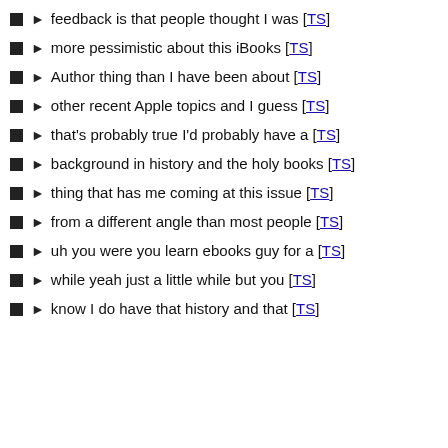feedback is that people thought I was [TS]
more pessimistic about this iBooks [TS]
Author thing than I have been about [TS]
other recent Apple topics and I guess [TS]
that's probably true I'd probably have a [TS]
background in history and the holy books [TS]
thing that has me coming at this issue [TS]
from a different angle than most people [TS]
uh you were you learn ebooks guy for a [TS]
while yeah just a little while but you [TS]
know I do have that history and that [TS]